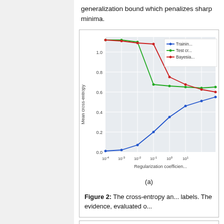generalization bound which penalizes sharp minima.
[Figure (line-chart): Line chart showing training cross-entropy (blue, rising from ~0 to ~0.6), test cross-entropy (green, dropping from ~1.2 to ~0.7), and Bayesian bound (red, dropping from ~1.2 to ~0.6) vs regularization coefficient on log scale from 10^-4 to 10^1]
Figure 2: The cross-entropy and labels. The evidence, evaluated o